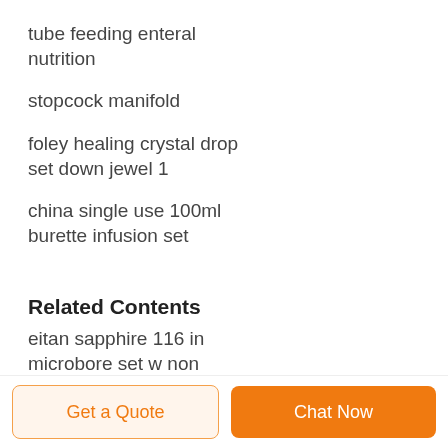tube feeding enteral nutrition
stopcock manifold
foley healing crystal drop set down jewel 1
china single use 100ml burette infusion set
Related Contents
eitan sapphire 116 in microbore set w non vented rms vented infusion set
Resultados de la búsqueda
Get a Quote
Chat Now